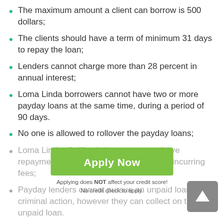The maximum amount a client can borrow is 500 dollars;
The clients should have a term of minimum 31 days to repay the loan;
Lenders cannot charge more than 28 percent in annual interest;
Loma Linda borrowers cannot have two or more payday loans at the same time, during a period of 90 days.
No one is allowed to rollover the payday loans;
Loma Linda, California borrowers can have repayment plans of up to 60 days before incurring fees;
Payday lenders cannot pursue an unpaid loan as a criminal action, however they can collect on the unpaid loan.
Apply Now
Applying does NOT affect your credit score!
No credit check to apply.